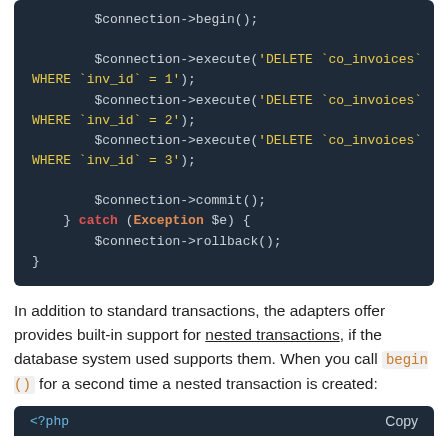[Figure (screenshot): Code block showing PHP database transaction code with $connection->begin(), three execute DELETE statements, $connection->commit(), and a catch block with $connection->rollback()]
In addition to standard transactions, the adapters offer provides built-in support for nested transactions, if the database system used supports them. When you call begin() for a second time a nested transaction is created:
[Figure (screenshot): Bottom of a code block showing '<?php' with a Copy button in the top right]